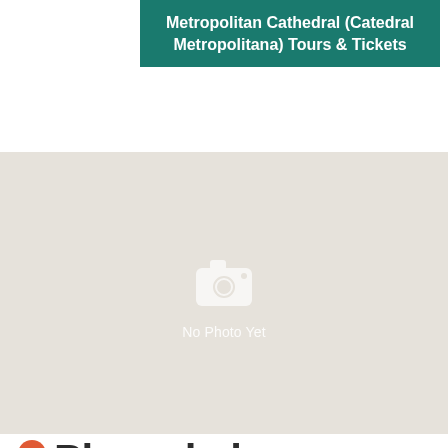Metropolitan Cathedral (Catedral Metropolitana) Tours & Tickets
[Figure (photo): No Photo Yet placeholder image with camera icon on light beige/gray background]
3 Plaza de la Constitución